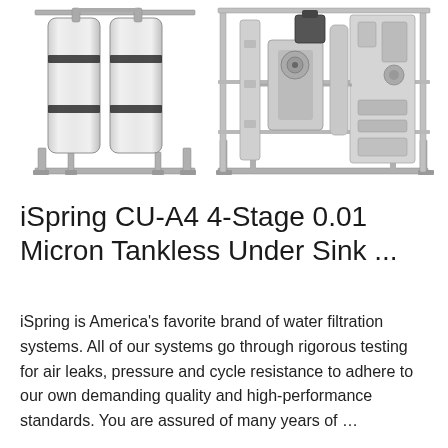[Figure (photo): Industrial water filtration equipment: stainless steel cylindrical filter tanks on a metal frame on the left, and a more complex multi-component filtration skid with pumps and panels on the right, all on white background.]
iSpring CU-A4 4-Stage 0.01 Micron Tankless Under Sink ...
iSpring is America's favorite brand of water filtration systems. All of our systems go through rigorous testing for air leaks, pressure and cycle resistance to adhere to our own demanding quality and high-performance standards. You are assured of many years of …